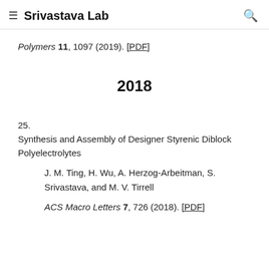≡  Srivastava Lab  🔍
Polymers 11, 1097 (2019). [PDF]
2018
25.   Synthesis and Assembly of Designer Styrenic Diblock Polyelectrolytes
J. M. Ting, H. Wu, A. Herzog-Arbeitman, S. Srivastava, and M. V. Tirrell
ACS Macro Letters 7, 726 (2018). [PDF]